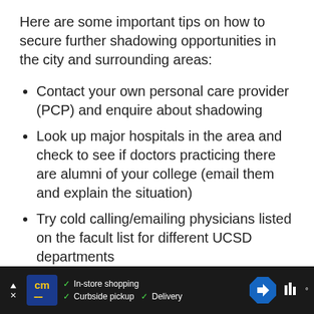Here are some important tips on how to secure further shadowing opportunities in the city and surrounding areas:
Contact your own personal care provider (PCP) and enquire about shadowing
Look up major hospitals in the area and check to see if doctors practicing there are alumni of your college (email them and explain the situation)
Try cold calling/emailing physicians listed on the facult list for different UCSD departments
Check out volunteer opportunities in the city, get orientated and introduce
[Figure (screenshot): Advertisement bar at the bottom: dark background with cm logo, checkmarks for In-store shopping, Curbside pickup, Delivery, and a navigation arrow icon.]